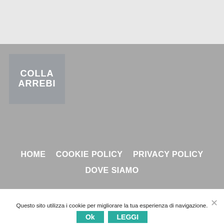[Figure (logo): Colla Arrebi company logo — white stylized chunky text on a medium-gray square background]
HOME
COOKIE POLICY
PRIVACY POLICY
DOVE SIAMO
Questo sito utilizza i cookie per migliorare la tua esperienza di navigazione. Continuando a visitare il sito ne accetti l'uso.
Ok
LEGGI